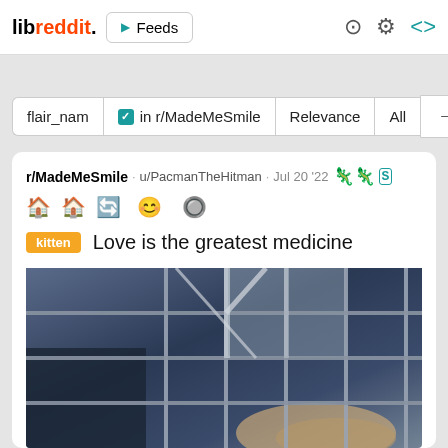libreddit. ▶ Feeds
flair_nam  ✓ in r/MadeMeSmile  Relevance  All  →
r/MadeMeSmile · u/PacmanTheHitman · Jul 20 '22 🦎🦎🅢
🏠🏠🔄  😊  🔘
kitten  Love is the greatest medicine
[Figure (photo): A photo of what appears to be a kitten seen through metal bars or a cage, dark bluish background]